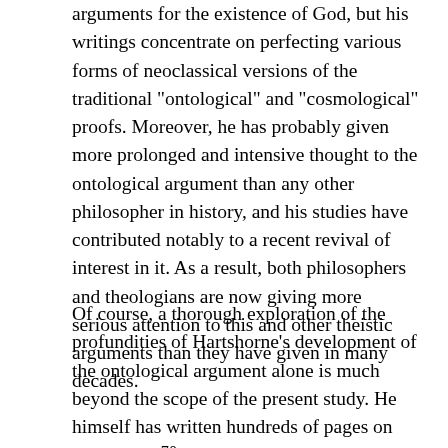arguments for the existence of God, but his writings concentrate on perfecting various forms of neoclassical versions of the traditional "ontological" and "cosmological" proofs. Moreover, he has probably given more prolonged and intensive thought to the ontological argument than any other philosopher in history, and his studies have contributed notably to a recent revival of interest in it. As a result, both philosophers and theologians are now giving more serious attention to this and other theistic arguments than they have given in many decades.
Of course, a thorough exploration of the profundities of Hartshorne's development of the ontological argument alone is much beyond the scope of the present study. He himself has written hundreds of pages on the subject.70 However, it will be within our purpose to explain generally how his treatment of the theistic arguments accords exactly with his neoclassical understanding of God.